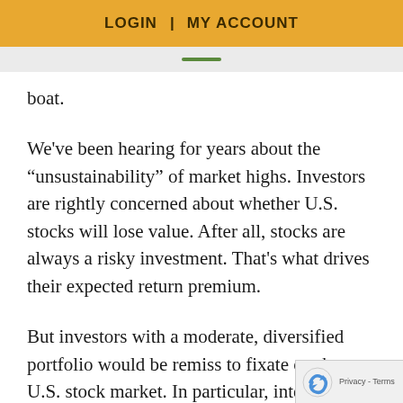LOGIN  |  MY ACCOUNT
boat.
We've been hearing for years about the “unsustainability” of market highs. Investors are rightly concerned about whether U.S. stocks will lose value. After all, stocks are always a risky investment. That’s what drives their expected return premium.
But investors with a moderate, diversified portfolio would be remiss to fixate on the U.S. stock market. In particular, international stocks and gold have buoyed returns year-to-date. Developed and emerging international stocks have been slightly positive since March 1. Even if “the market” defined by U.S. stocks